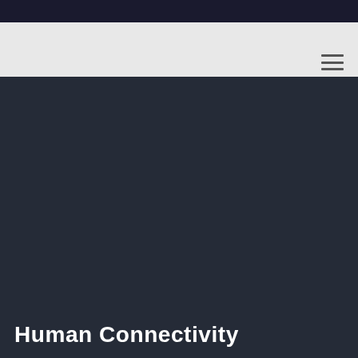[Figure (other): Dark top navigation bar]
[Figure (other): Hamburger menu icon (three horizontal lines) on light grey header background]
Human Connectivity
Savings through automation, scale, improved service. We've got that covered. But the true value comes with empathy, through empowerment, collaboration. It's connecting people that drives us forward. It's people that make tomorrow happen.